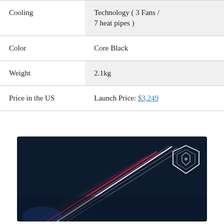|  |  |
| --- | --- |
| Cooling | Technology ( 3 Fans / 7 heat pipes ) |
| Color | Core Black |
| Weight | 2.1kg |
| Price in the US | Launch Price: $3,249 |
[Figure (photo): MSI gaming laptop showing the screen with dark background featuring white and red light streaks and the MSI dragon shield logo in the top right corner of the screen]